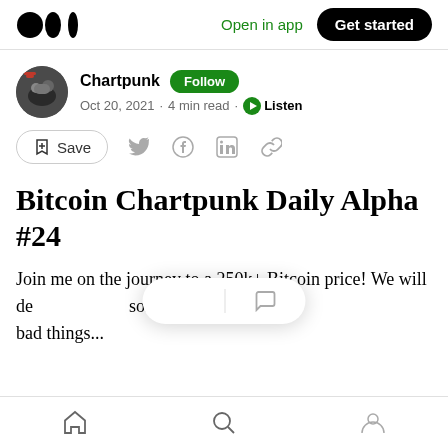Open in app  Get started
Chartpunk  Follow
Oct 20, 2021 · 4 min read · Listen
Save
Bitcoin Chartpunk Daily Alpha #24
Join me on the journey to a 250k+ Bitcoin price! We will de[l] some good and [bad things...]